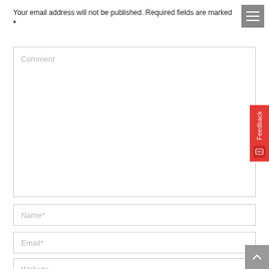Your email address will not be published. Required fields are marked *
[Figure (screenshot): Comment textarea form field with placeholder text 'Comment']
[Figure (screenshot): Name input field with placeholder 'Name*']
[Figure (screenshot): Email input field with placeholder 'Email*']
[Figure (screenshot): Website input field with placeholder 'Website']